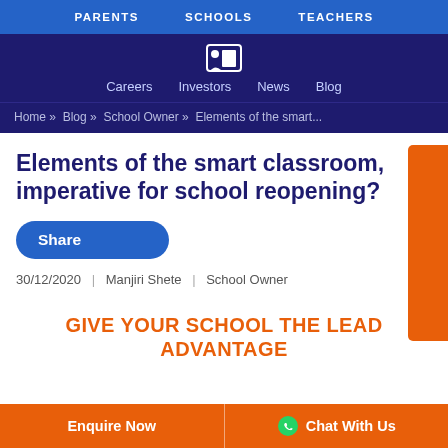PARENTS   SCHOOLS   TEACHERS
Careers  Investors  News  Blog
Home » Blog » School Owner » Elements of the smart...
Elements of the smart classroom, imperative for school reopening?
Share
30/12/2020  |  Manjiri Shete  |  School Owner
GIVE YOUR SCHOOL THE LEAD ADVANTAGE
Enquire Now   Chat With Us